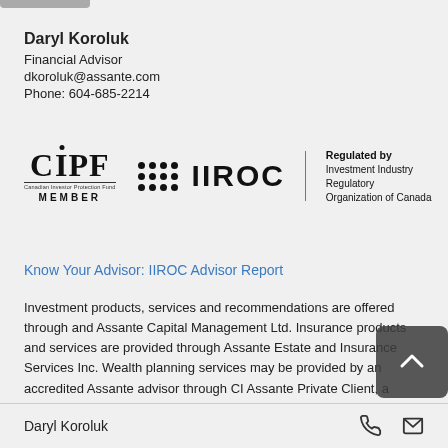Daryl Koroluk
Financial Advisor
dkoroluk@assante.com
Phone: 604-685-2214
[Figure (logo): CIPF Member logo and IIROC Regulated by Investment Industry Regulatory Organization of Canada logo]
Know Your Advisor: IIROC Advisor Report
Investment products, services and recommendations are offered through and Assante Capital Management Ltd. Insurance products and services are provided through Assante Estate and Insurance Services Inc. Wealth planning services may be provided by an accredited Assante advisor through CI Assante Private Client, a division of CI Private Counsel LP, or a non-affiliated third party.
Daryl Koroluk